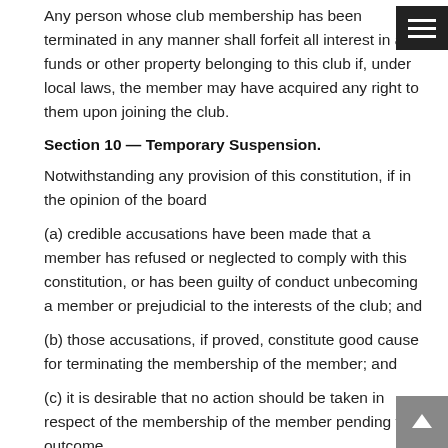Any person whose club membership has been terminated in any manner shall forfeit all interest in any funds or other property belonging to this club if, under local laws, the member may have acquired any right to them upon joining the club.
Section 10 — Temporary Suspension.
Notwithstanding any provision of this constitution, if in the opinion of the board
(a) credible accusations have been made that a member has refused or neglected to comply with this constitution, or has been guilty of conduct unbecoming a member or prejudicial to the interests of the club; and
(b) those accusations, if proved, constitute good cause for terminating the membership of the member; and
(c) it is desirable that no action should be taken in respect of the membership of the member pending the outcome